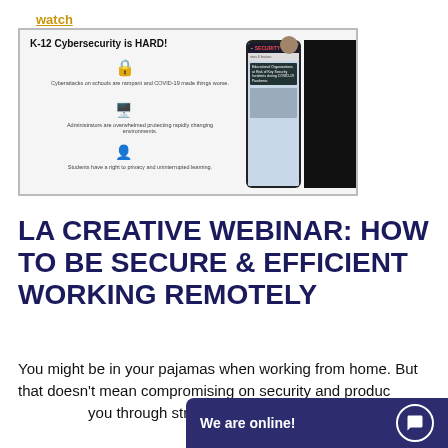watch
[Figure (screenshot): Screenshot of a webinar slide titled 'K-12 Cybersecurity is HARD!' showing three icons with text about cyberattacks on schools being rampant and COVID-19 making things worse, administrators being overwhelmed protecting rapidly changing environments, and students having a right to privacy and uninterrupted learning. A smartphone displays a SECURITY magazine article about educational organizations at risk of key security incidents during COVID-19.]
LA CREATIVE WEBINAR: HOW TO BE SECURE & EFFICIENT WORKING REMOTELY
You might be in your pajamas when working from home. But that doesn't mean compromising on security and productivity. We'll walk you through strate…
We are online!